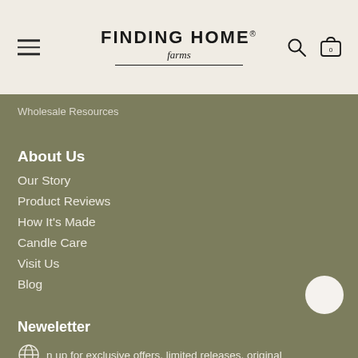[Figure (logo): Finding Home Farms logo with hamburger menu, search icon, and cart icon in header]
Wholesale Resources
About Us
Our Story
Product Reviews
How It's Made
Candle Care
Visit Us
Blog
Neweletter
n up for exclusive offers, limited releases, original